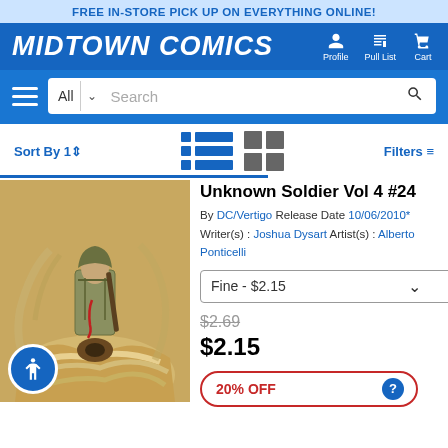FREE IN-STORE PICK UP ON EVERYTHING ONLINE!
MIDTOWN COMICS
Profile  Pull List  Cart
All  Search
Sort By  Filters
[Figure (photo): Comic book cover for Unknown Soldier Vol 4 #24 showing a soldier standing on top of bandaged figure with weapons and tendrils in background]
Unknown Soldier Vol 4 #24
By DC/Vertigo  Release Date 10/06/2010*
Writer(s) : Joshua Dysart  Artist(s) : Alberto Ponticelli
Fine - $2.15
$2.69
$2.15
20% OFF